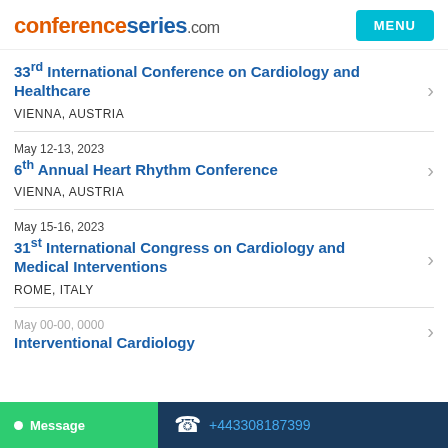conferenceseries.com
33rd International Conference on Cardiology and Healthcare | VIENNA, AUSTRIA
May 12-13, 2023 | 6th Annual Heart Rhythm Conference | VIENNA, AUSTRIA
May 15-16, 2023 | 31st International Congress on Cardiology and Medical Interventions | ROME, ITALY
May ... | Interventional Cardiology
Message  +443308187399